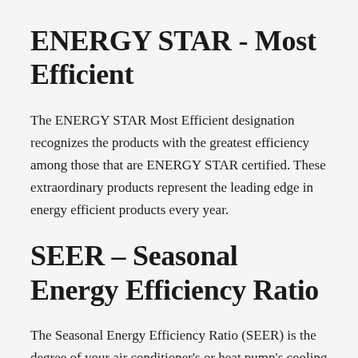ENERGY STAR - Most Efficient
The ENERGY STAR Most Efficient designation recognizes the products with the greatest efficiency among those that are ENERGY STAR certified. These extraordinary products represent the leading edge in energy efficient products every year.
SEER – Seasonal Energy Efficiency Ratio
The Seasonal Energy Efficiency Ratio (SEER) is the degree of your air conditioner's or heat pump's cooling efficiency. The major difference between SEER ratings and EER ratings is that SEER measures an air